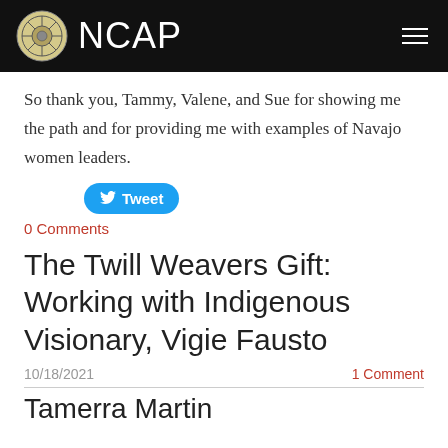NCAP
So thank you, Tammy, Valene, and Sue for showing me the path and for providing me with examples of Navajo women leaders.
[Figure (other): Twitter Tweet button]
0 Comments
The Twill Weavers Gift:  Working with Indigenous Visionary, Vigie Fausto
10/18/2021        1 Comment
Tamerra Martin